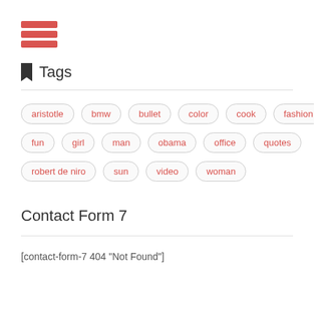[Figure (other): Hamburger menu icon — three red horizontal bars stacked vertically]
Tags
aristotle
bmw
bullet
color
cook
fashion
fun
girl
man
obama
office
quotes
robert de niro
sun
video
woman
Contact Form 7
[contact-form-7 404 "Not Found"]